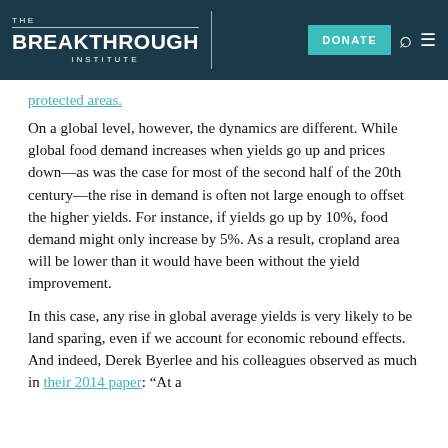THE BREAKTHROUGH INSTITUTE | DONATE
protected areas.
On a global level, however, the dynamics are different. While global food demand increases when yields go up and prices down—as was the case for most of the second half of the 20th century—the rise in demand is often not large enough to offset the higher yields. For instance, if yields go up by 10%, food demand might only increase by 5%. As a result, cropland area will be lower than it would have been without the yield improvement.
In this case, any rise in global average yields is very likely to be land sparing, even if we account for economic rebound effects. And indeed, Derek Byerlee and his colleagues observed as much in their 2014 paper: “At a